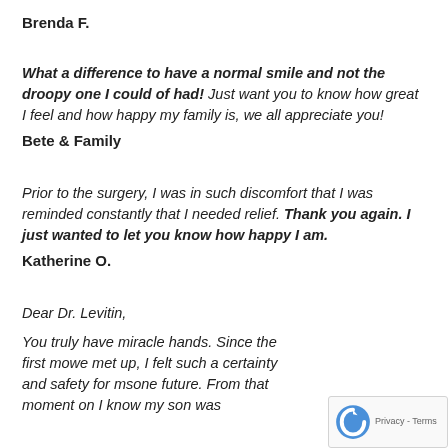Brenda F.
What a difference to have a normal smile and not the droopy one I could of had! Just want you to know how great I feel and how happy my family is, we all appreciate you!
Bete & Family
Prior to the surgery, I was in such discomfort that I was reminded constantly that I needed relief. Thank you again. I just wanted to let you know how happy I am.
Katherine O.
Dear Dr. Levitin,
You truly have miracle hands. Since the first mo... we met up, I felt such a certainty and safety for m... sone future. From that moment on I know my son was...